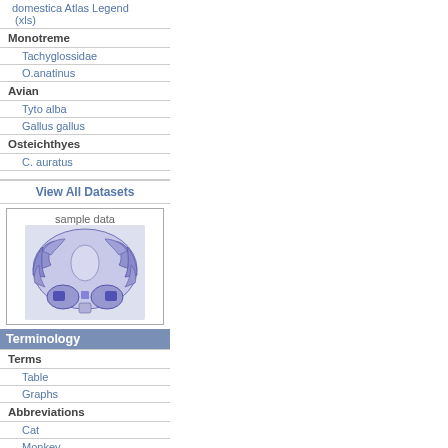domestica Atlas Legend (xls)
Monotreme
Tachyglossidae
O.anatinus
Avian
Tyto alba
Gallus gallus
Osteichthyes
C. auratus
View All Datasets
[Figure (illustration): Brain atlas sample data image showing a coronal section of a brain with blue/purple staining, displayed as a thumbnail.]
sample data
Terminology
Terms
Table
Graphs
Abbreviations
Cat
Monkey
Monkey sulci
Monkey gyrii
Owl
Antibodies
Antibody Database